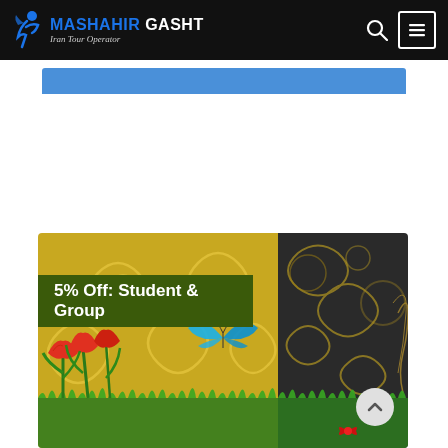MASHAHIR GASHT Iran Tour Operator
[Figure (screenshot): White content block with blue bar at top, representing a web content area]
[Figure (infographic): Promotional banner image with golden swirl decorative background, red tulips, a blue butterfly, green grass, and a dark green banner reading '5% Off: Student & Group']
5% Off: Student & Group